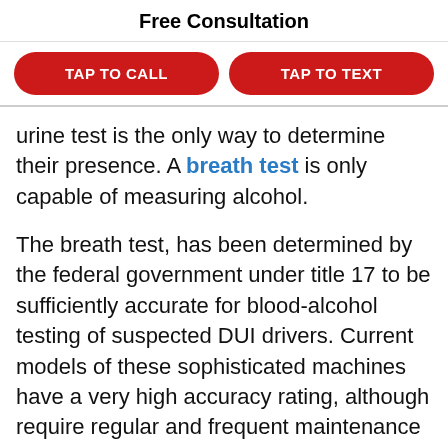Free Consultation
[Figure (infographic): Two red pill-shaped buttons side by side: 'TAP TO CALL' on the left and 'TAP TO TEXT' on the right]
urine test is the only way to determine their presence. A breath test is only capable of measuring alcohol.
The breath test, has been determined by the federal government under title 17 to be sufficiently accurate for blood-alcohol testing of suspected DUI drivers. Current models of these sophisticated machines have a very high accuracy rating, although require regular and frequent maintenance and calibration to be reliable. It has been determined that these machines have .02 allowable error range.These machines use heated gases and other very